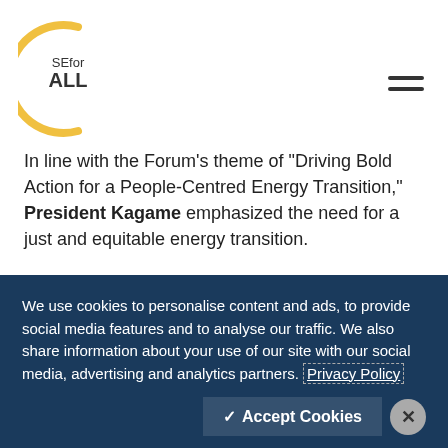SE for ALL logo and navigation menu
In line with the Forum’s theme of “Driving Bold Action for a People-Centred Energy Transition,” President Kagame emphasized the need for a just and equitable energy transition.
“By integrating sustainable energy in pandemic recovery plans, we can accelerate the transition to clean power,” President Kagame said. “But the transition must be just and equitable. This means it should align with Africa’s development priorities and aspirations to ensure no one is
We use cookies to personalise content and ads, to provide social media features and to analyse our traffic. We also share information about your use of our site with our social media, advertising and analytics partners. Privacy Policy
Accept Cookies